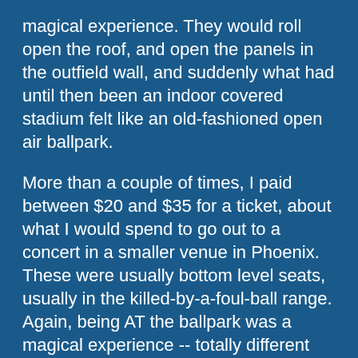magical experience. They would roll open the roof, and open the panels in the outfield wall, and suddenly what had until then been an indoor covered stadium felt like an old-fashioned open air ballpark.
More than a couple of times, I paid between $20 and $35 for a ticket, about what I would spend to go out to a concert in a smaller venue in Phoenix. These were usually bottom level seats, usually in the killed-by-a-foul-ball range. Again, being AT the ballpark was a magical experience -- totally different vibe from being at home watching the game, or even from being in a crowded sports bar when that was the featured game on the big screens. It's the difference between watching a rock concert on HBO and going to the arena for the show.
I did get to see one of the World Series games. I had seats out behind right field, and paid $110/each for them. I've paid much more to see U2 in concert. But man, the arena is th...